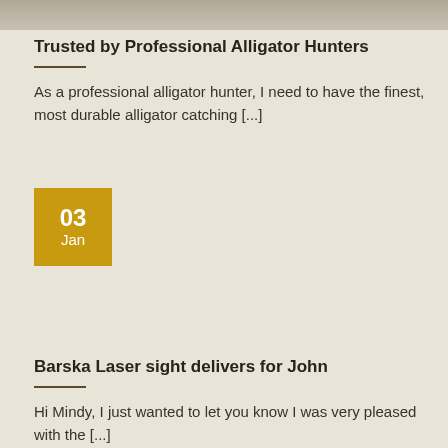[Figure (photo): Partial image strip visible at top of page, appears to be an outdoor/nature photo cropped to a narrow horizontal band]
Trusted by Professional Alligator Hunters
As a professional alligator hunter, I need to have the finest, most durable alligator catching [...]
[Figure (other): Date badge: orange/gold square showing '03 Jan']
Barska Laser sight delivers for John
Hi Mindy, I just wanted to let you know I was very pleased with the [...]